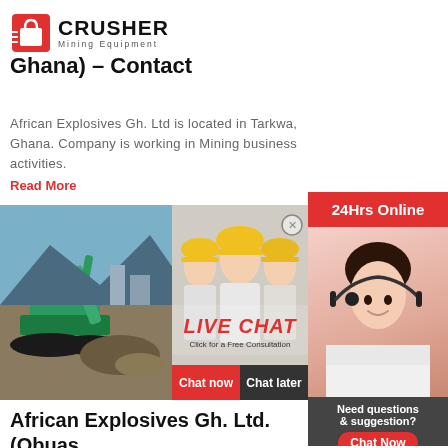CRUSHER Mining Equipment
African Explosives Gh. Ltd (Tarkwa, Ghana) – Contact
African Explosives Gh. Ltd is located in Tarkwa, Ghana. Company is working in Mining business activities.
Read More
[Figure (photo): Mining equipment at site - left panel; Live Chat popup with workers in hard hats in center panel]
African Explosives Gh. Ltd. (Obuasi, Ghana) – Contact ...
African Explosives Gh. Ltd. is located in Obuasi, Ghana. Company is working in Mining business activities.
Read More
[Figure (photo): Customer service representative with headset - right sidebar panel; 24Hrs Online label; Need questions & suggestion? Chat Now; Enquiry; limingjlmofen@sina.com]